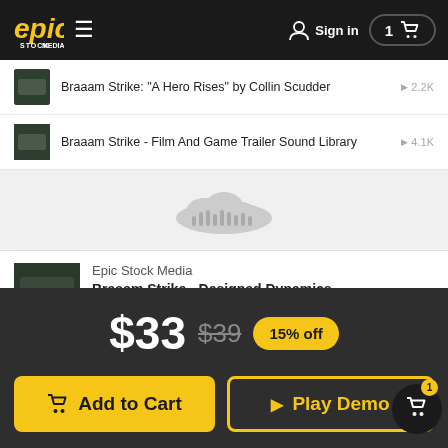Epic Stock Media — Sign in — Cart: 1
Braaam Strike: "A Hero Rises" by Collin Scudder — 2.2K plays
Braaam Strike - Film And Game Trailer Sound Library — 4.1K plays
[Figure (screenshot): SoundCloud embedded waveform widget]
Epic Stock Media
Braaam Strike - Designed Dynamics
Privacy policy
$33  $39  15% off
Add to Cart   Play Demo